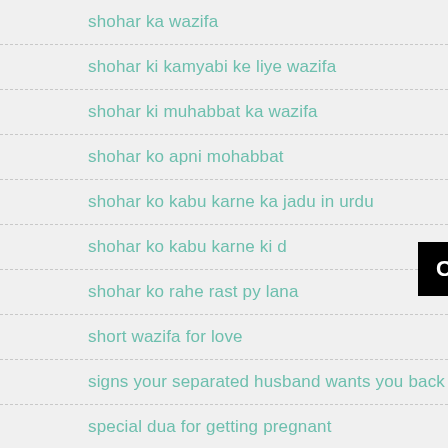shohar ka wazifa
shohar ki kamyabi ke liye wazifa
shohar ki muhabbat ka wazifa
shohar ko apni mohabbat
shohar ko kabu karne ka jadu in urdu
shohar ko kabu karne ki d…
shohar ko rahe rast py lana
short wazifa for love
signs your separated husband wants you back
special dua for getting pregnant
Click to Consult on Whatsapp